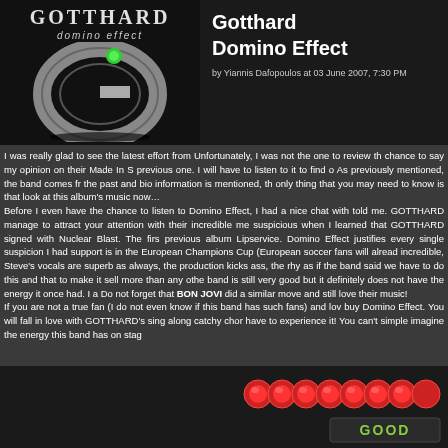[Figure (illustration): Gotthard Domino Effect album cover with stylized G logo in chrome/silver on black background with green accent, text 'GOTTHARD domino effect' at top]
Gotthard Domino Effect
by Yiannis Dafopoulos at 03 June 2007, 7:30 PM
I was really glad to see the latest effort from... Unfortunately, I was not the one to review th... chance to say my opinion on their Made In S... previous one. I will have to listen to it to find o... As previously mentioned, the band comes fr... the past and bio information is mentioned, th... only thing that you may need to know is that ... look at this album's music now… Before I even have the chance to listen to Domino Effect, I had a nice chat with... told me. GOTTHARD manage to attract your attention with their incredible me... suspicious when I learned that GOTTHARD signed with Nuclear Blast. The firs... previous album Lipservice. Domino Effect justifies every single suspicion I had... support is in the European Champions Cup (European soccer fans will alread... incredible, Steve's vocals are superb as always, the production kicks ass, the rhy... as if the band said we have to do this and that to make it sell more than any othe... band is still very good but it definitely does not have the energy it once had. I a... Do not forget that BON JOVI did a similar move and still love their music! If you are not a true fan (I do not even know if this band has such fans) and lov... buy Domino Effect. You will fall in love with GOTTHARD's sing along catchy chor... have to experience it! You can't simple imagine the energy this band has on stag...
[Figure (illustration): Row of red and green circular rating icons (good rating) with 'GOOD' text label at bottom right]